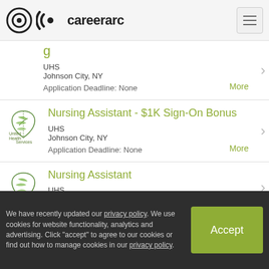careerarc
UHS | Johnson City, NY | Application Deadline: None
Nursing Assistant - $1K Sign-On Bonus | UHS | Johnson City, NY | Application Deadline: None
Nursing Assistant | UHS | Johnson City, NY
We have recently updated our privacy policy. We use cookies for website functionality, analytics and advertising. Click "accept" to agree to our cookies or find out how to manage cookies in our privacy policy.